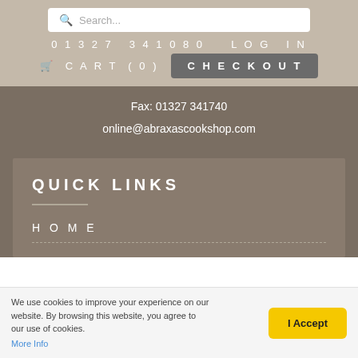Search...
01327 341080   LOG IN
🛒 CART (0)   CHECKOUT
Fax: 01327 341740
online@abraxascookshop.com
QUICK LINKS
HOME
We use cookies to improve your experience on our website. By browsing this website, you agree to our use of cookies. More Info
I Accept